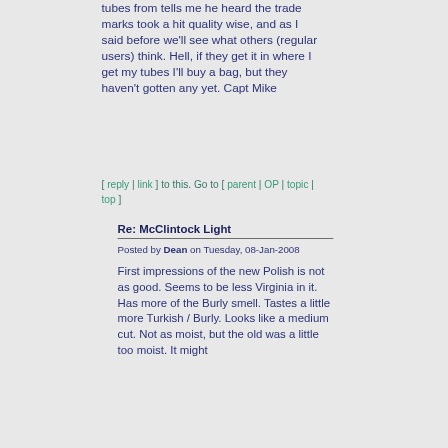tubes from tells me he heard the trade marks took a hit quality wise, and as I said before we'll see what others (regular users) think. Hell, if they get it in where I get my tubes I'll buy a bag, but they haven't gotten any yet. Capt Mike
[ reply | link ] to this. Go to [ parent | OP | topic | top ]
Re: McClintock Light
Posted by Dean on Tuesday, 08-Jan-2008
First impressions of the new Polish is not as good. Seems to be less Virginia in it. Has more of the Burly smell. Tastes a little more Turkish / Burly. Looks like a medium cut. Not as moist, but the old was a little too moist. It might